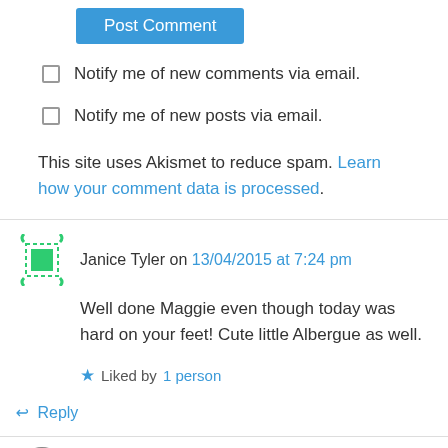[Figure (other): Blue 'Post Comment' button]
Notify me of new comments via email.
Notify me of new posts via email.
This site uses Akismet to reduce spam. Learn how your comment data is processed.
Janice Tyler on 13/04/2015 at 7:24 pm
Well done Maggie even though today was hard on your feet! Cute little Albergue as well.
Liked by 1 person
↳ Reply